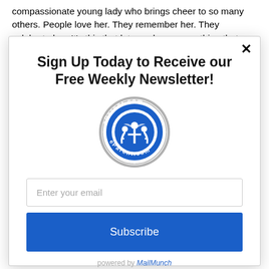compassionate young lady who brings cheer to so many others. People love her. They remember her. They celebrate her. It's this that lets me know everything that came before led us to this
Sign Up Today to Receive our Free Weekly Newsletter!
[Figure (logo): eParent.com circular logo with blue figures and text around border]
Enter your email
Subscribe
powered by MailMunch